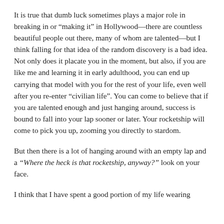It is true that dumb luck sometimes plays a major role in breaking in or “making it” in Hollywood—there are countless beautiful people out there, many of whom are talented—but I think falling for that idea of the random discovery is a bad idea. Not only does it placate you in the moment, but also, if you are like me and learning it in early adulthood, you can end up carrying that model with you for the rest of your life, even well after you re-enter “civilian life”. You can come to believe that if you are talented enough and just hanging around, success is bound to fall into your lap sooner or later. Your rocketship will come to pick you up, zooming you directly to stardom.
But then there is a lot of hanging around with an empty lap and a “Where the heck is that rocketship, anyway?” look on your face.
I think that I have spent a good portion of my life wearing